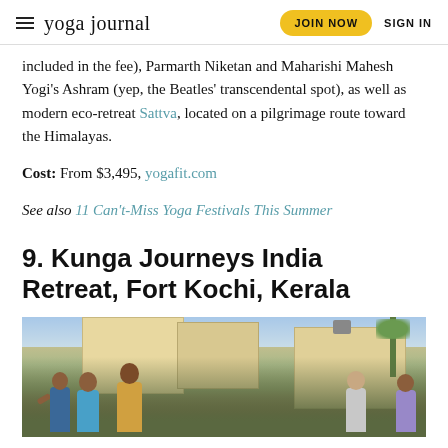yoga journal | JOIN NOW | SIGN IN
included in the fee), Parmarth Niketan and Maharishi Mahesh Yogi's Ashram (yep, the Beatles' transcendental spot), as well as modern eco-retreat Sattva, located on a pilgrimage route toward the Himalayas.
Cost: From $3,495, yogafit.com
See also 11 Can't-Miss Yoga Festivals This Summer
9. Kunga Journeys India Retreat, Fort Kochi, Kerala
[Figure (photo): People outdoors in Fort Kochi, Kerala, with multi-story buildings and a palm tree in the background. A smiling girl waves at the camera in the foreground.]